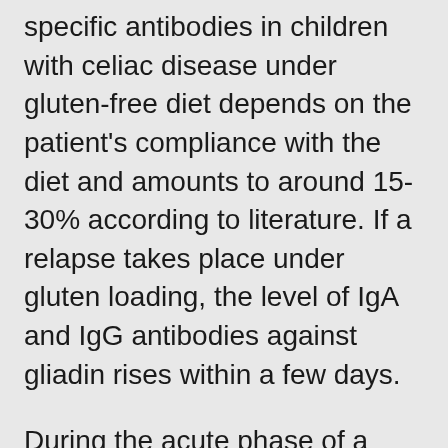specific antibodies in children with celiac disease under gluten-free diet depends on the patient's compliance with the diet and amounts to around 15-30% according to literature. If a relapse takes place under gluten loading, the level of IgA and IgG antibodies against gliadin rises within a few days.
During the acute phase of a gluten-sensitive enteropathy, antibodies of class IgA against endomysium/ tissue transglutaminase and/or gliadin